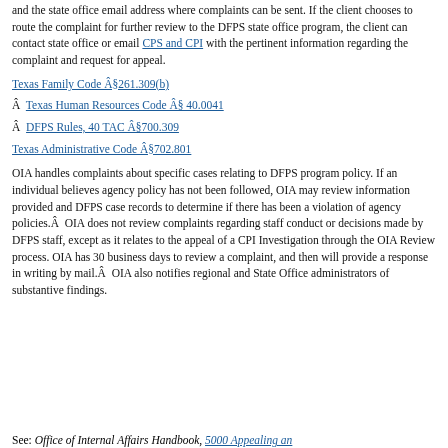and the state office email address where complaints can be sent. If the client chooses to route the complaint for further review to the DFPS state office program, the client can contact state office or email CPS and CPI with the pertinent information regarding the complaint and request for appeal.
Texas Family Code §261.309(b)
Â  Texas Human Resources Code § 40.0041
Â  DFPS Rules, 40 TAC §700.309
Texas Administrative Code §702.801
OIA handles complaints about specific cases relating to DFPS program policy. If an individual believes agency policy has not been followed, OIA may review information provided and DFPS case records to determine if there has been a violation of agency policies.Â  OIA does not review complaints regarding staff conduct or decisions made by DFPS staff, except as it relates to the appeal of a CPI Investigation through the OIA Review process. OIA has 30 business days to review a complaint, and then will provide a response in writing by mail.Â  OIA also notifies regional and State Office administrators of substantive findings.
See: Office of Internal Affairs Handbook, 5000 Appealing an